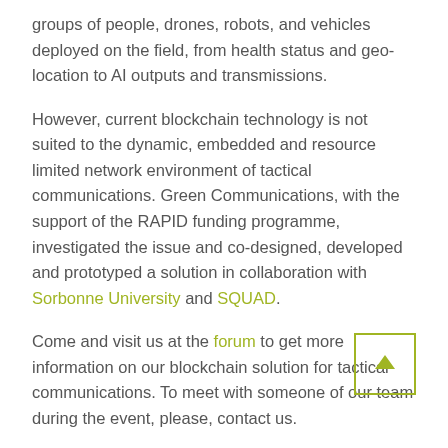groups of people, drones, robots, and vehicles deployed on the field, from health status and geo-location to AI outputs and transmissions.
However, current blockchain technology is not suited to the dynamic, embedded and resource limited network environment of tactical communications. Green Communications, with the support of the RAPID funding programme, investigated the issue and co-designed, developed and prototyped a solution in collaboration with Sorbonne University and SQUAD.
Come and visit us at the forum to get more information on our blockchain solution for tactical communications. To meet with someone of our team during the event, please, contact us.